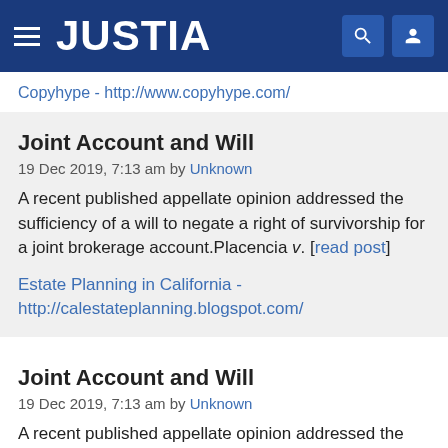JUSTIA
Copyhype - http://www.copyhype.com/
Joint Account and Will
19 Dec 2019, 7:13 am by Unknown
A recent published appellate opinion addressed the sufficiency of a will to negate a right of survivorship for a joint brokerage account.Placencia v. [read post]
Estate Planning in California - http://calestateplanning.blogspot.com/
Joint Account and Will
19 Dec 2019, 7:13 am by Unknown
A recent published appellate opinion addressed the sufficiency of a will to negate a right of survivorship for a